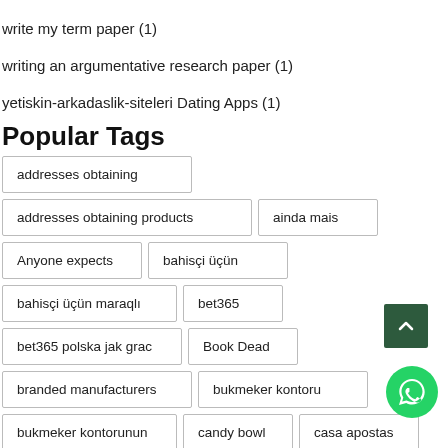write my term paper (1)
writing an argumentative research paper (1)
yetiskin-arkadaslik-siteleri Dating Apps (1)
Popular Tags
addresses obtaining
addresses obtaining products
ainda mais
Anyone expects
bahisçi üçün
bahisçi üçün maraqlı
bet365
bet365 polska jak grac
Book Dead
branded manufacturers
bukmeker kontoru
bukmeker kontorunun
candy bowl
casa apostas